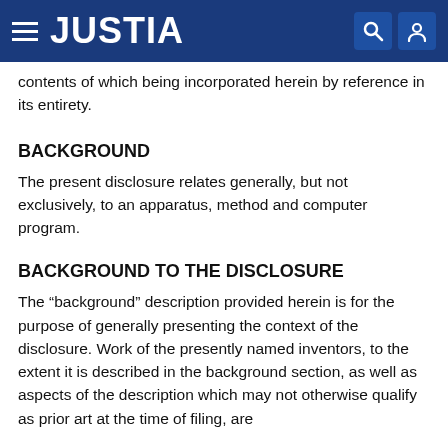JUSTIA
contents of which being incorporated herein by reference in its entirety.
BACKGROUND
The present disclosure relates generally, but not exclusively, to an apparatus, method and computer program.
BACKGROUND TO THE DISCLOSURE
The “background” description provided herein is for the purpose of generally presenting the context of the disclosure. Work of the presently named inventors, to the extent it is described in the background section, as well as aspects of the description which may not otherwise qualify as prior art at the time of filing, are